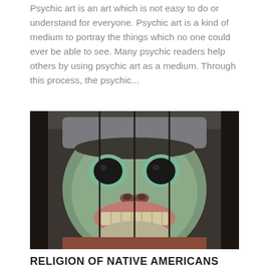Psychic art is an art which is not easy to do or understand for everyone. Psychic art is a kind of medium to portray the things which no one could ever be able to see. Many psychic readers help others by using psychic art as a medium. Through this process, the psychic...
[Figure (photo): Close-up photograph of a totem pole face carving with green, black, and brown painted wood. The carved face shows large round dark eyes, a flat nose with nostrils, and a wide open mouth showing teeth. The background shows dark wooden panels.]
RELIGION OF NATIVE AMERICANS